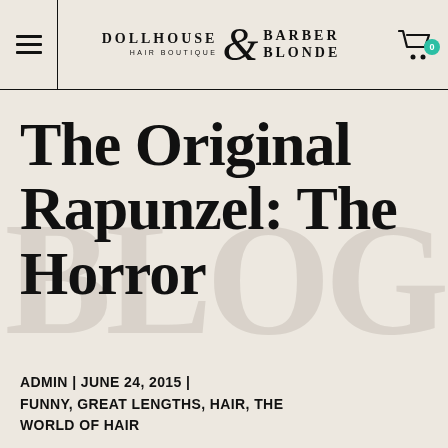DOLLHOUSE HAIR BOUTIQUE & BARBER BLONDE
The Original Rapunzel: The Horror
ADMIN | JUNE 24, 2015 | FUNNY, GREAT LENGTHS, HAIR, THE WORLD OF HAIR